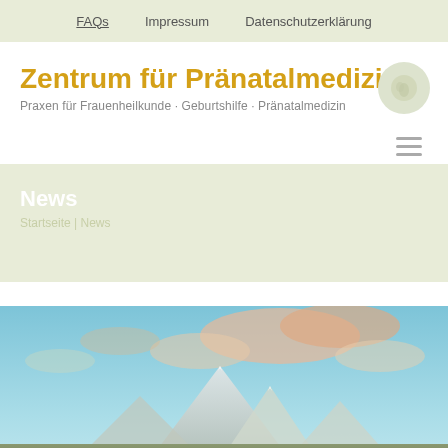FAQs   Impressum   Datenschutzerklärung
Zentrum für Pränatalmedizin
Praxen für Frauenheilkunde · Geburtshilfe · Pränatalmedizin
[Figure (logo): Circular logo placeholder with leaf/plant icon]
News
Startseite | News
[Figure (photo): Wide landscape panorama photograph showing mountain peaks with dramatic sky, pink and white clouds, and rocky foreground in alpine setting]